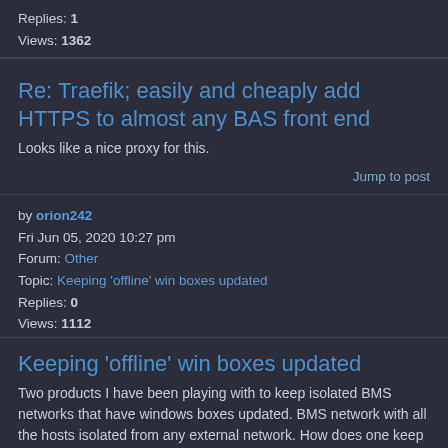Replies: 1
Views: 1362
Re: Traefik; easily and cheaply add HTTPS to almost any BAS front end
Looks like a nice proxy for this.
Jump to post
by orion242
Fri Jun 05, 2020 10:27 pm
Forum: Other
Topic: Keeping 'offline' win boxes updated
Replies: 0
Views: 1112
Keeping 'offline' win boxes updated
Two products I have been playing with to keep isolated BMS networks that have windows boxes updated. BMS network with all the hosts isolated from any external network. How does one keep the PCs used by the staff for monitor updated especially when its more than one and not managed by the customers i...
Jump to post
by orion242
Tue May 19, 2020 6:46 pm